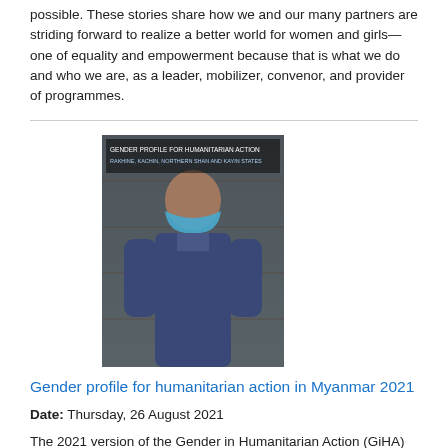possible. These stories share how we and our many partners are striding forward to realize a better world for women and girls—one of equality and empowerment because that is what we do and who we are, as a leader, mobilizer, convenor, and provider of programmes.
[Figure (photo): Book cover image showing a woman wearing a blue face mask, associated with a gender profile report for Myanmar 2021]
Gender profile for humanitarian action in Myanmar 2021
Date: Thursday, 26 August 2021
The 2021 version of the Gender in Humanitarian Action (GiHA) profile includes an analysis of the gender-related impacts of the COVID-19 pandemic and the February military coup in Rakhine, Kachin, Northern Shan and Kayin States in Myanmar. In 2020 and 2021, the COVID-19 pandemic further complicated the lives of people in humanitarian settings across the country, resulting in significant economic and health impacts.